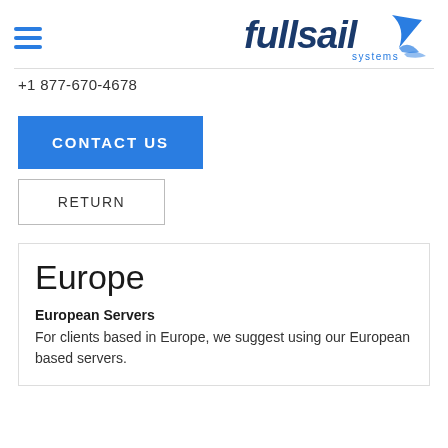fullsail systems
+1 877-670-4678
CONTACT US
RETURN
Europe
European Servers
For clients based in Europe, we suggest using our European based servers.